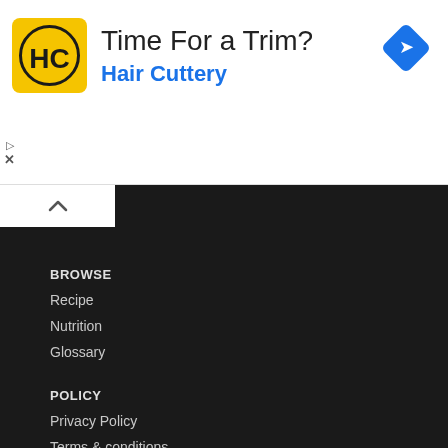[Figure (advertisement): Hair Cuttery ad banner with yellow/black HC logo, text 'Time For a Trim?' and 'Hair Cuttery' in blue, blue diamond navigation icon on right]
BROWSE
Recipe
Nutrition
Glossary
POLICY
Privacy Policy
Terms & conditions
Disclaimer